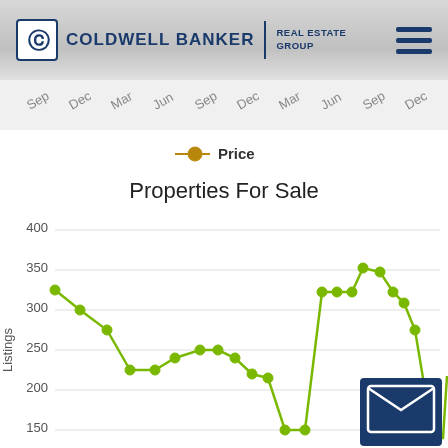COLDWELL BANKER REAL ESTATE GROUP
[Figure (line-chart): Properties For Sale]